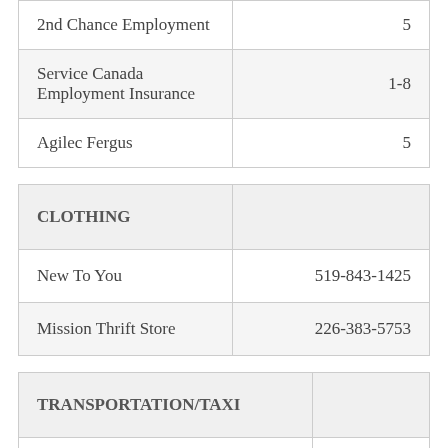| Service | Phone |
| --- | --- |
| 2nd Chance Employment | 5… |
| Service Canada Employment Insurance | 1-8… |
| Agilec Fergus | 5… |
| CLOTHING |  |
| --- | --- |
| New To You | 519-843-1425 |
| Mission Thrift Store | 226-383-5753 |
| TRANSPORTATION/TAXI |  |
| --- | --- |
| Wellington Transportation (Free Service) | 5… |